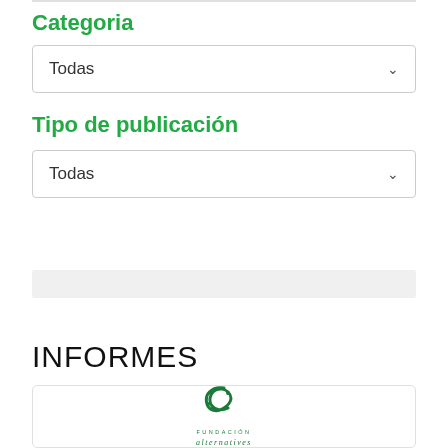Categoria
Todas
Tipo de publicación
Todas
Buscar
INFORMES
[Figure (logo): Fundación Alternatives logo with stylized green leaf/book icon above text FUNDACIÓN alternatives]